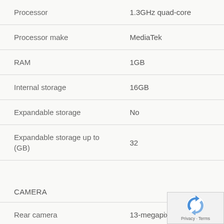| Specification | Value |
| --- | --- |
| Processor | 1.3GHz quad-core |
| Processor make | MediaTek |
| RAM | 1GB |
| Internal storage | 16GB |
| Expandable storage | No |
| Expandable storage up to (GB) | 32 |
| CAMERA |  |
| Rear camera | 13-megapixel |
| Rear Flash | LED |
[Figure (logo): reCAPTCHA badge with Privacy and Terms text]